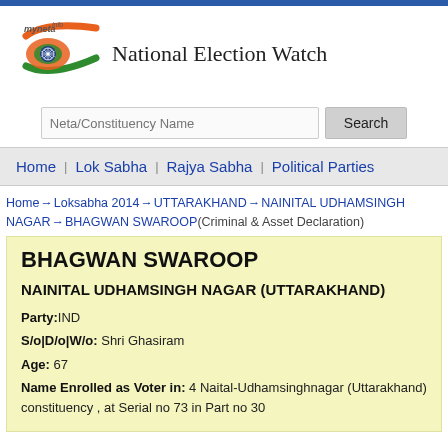[Figure (logo): myneta.info and National Election Watch logo with Indian flag motif]
National Election Watch
Neta/Constituency Name [search box] Search
Home  Lok Sabha  Rajya Sabha  Political Parties
Home → Loksabha 2014 → UTTARAKHAND → NAINITAL UDHAMSINGH NAGAR → BHAGWAN SWAROOP(Criminal & Asset Declaration)
BHAGWAN SWAROOP
NAINITAL UDHAMSINGH NAGAR (UTTARAKHAND)
Party:IND
S/o|D/o|W/o: Shri Ghasiram
Age: 67
Name Enrolled as Voter in: 4 Naital-Udhamsinghnagar (Uttarakhand) constituency , at Serial no 73 in Part no 30